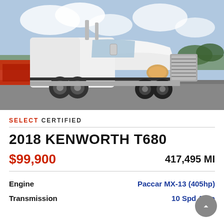[Figure (photo): White 2018 Kenworth T680 semi-truck photographed from a front three-quarter angle in a parking lot, with trees and other red trucks in the background.]
SELECT CERTIFIED
2018 KENWORTH T680
$99,900    417,495 MI
| Spec | Value |
| --- | --- |
| Engine | Paccar MX-13 (405hp) |
| Transmission | 10 Spd Auto |